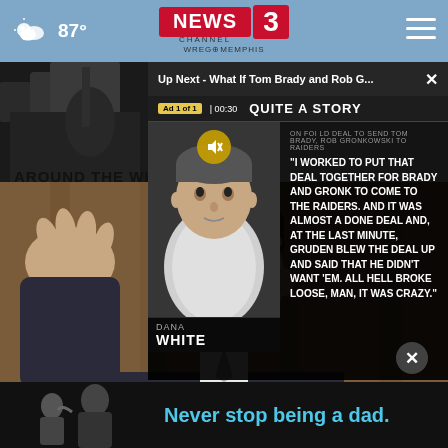87° News Channel 3 WREG Memphis
Up Next - What If Tom Brady and Rob G... ×
Ad 1 of 1 | 00:30 QUITE A STORY
ON FOI LD DEAL TO SEND TOM BRADY, ROB GRONKOWSKI TO RAIDERS
"I WORKED TO PUT THAT DEAL TOGETHER FOR BRADY AND GRONK TO COME TO THE RAIDERS. AND IT WAS ALMOST A DONE DEAL AND, AT THE LAST MINUTE, GRUDEN BLEW THE DEAL UP AND SAID THAT HE DIDN'T WANT 'EM. ALL HELL BROKE LOOSE, MAN, IT WAS CRAZY."
DANA WHITE
AROUND THE WEB
[Figure (photo): Man in suit gesturing with hand raised, speaking or testifying]
[Figure (photo): Advertisement banner: black and white photo of adult and child, text reads Never stop being a dad.]